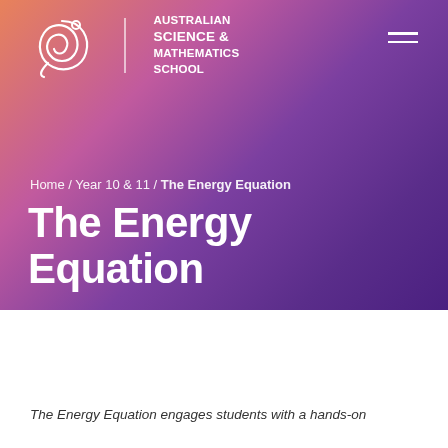[Figure (logo): Australian Science & Mathematics School logo with circular swirl motif in white, alongside school name text]
Home / Year 10 & 11 / The Energy Equation
The Energy Equation
The Energy Equation engages students with a hands-on